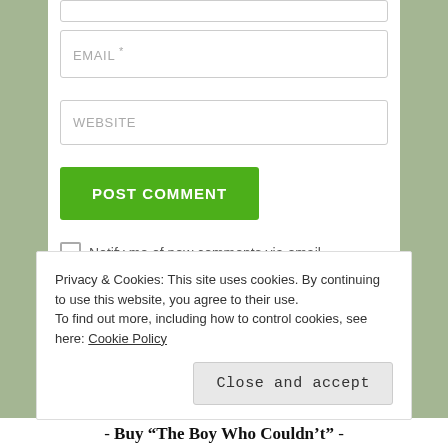[Figure (screenshot): Green leaf decorative background on left and right side margins of a blog comment form page]
EMAIL *
WEBSITE
POST COMMENT
Notify me of new comments via email.
Notify me of new posts via email.
Privacy & Cookies: This site uses cookies. By continuing to use this website, you agree to their use. To find out more, including how to control cookies, see here: Cookie Policy
Close and accept
- Buy “The Boy Who Couldn’t” -